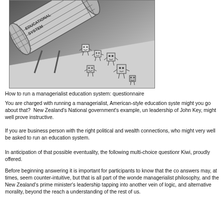[Figure (illustration): Black and white illustration showing a large cylindrical tube labeled 'EDUCATIONAL SYSTEM' tilted at an angle, with small cartoon cube-shaped figures with faces and limbs spilling out of it and scattering across a surface.]
How to run a managerialist education system: questionnaire
You are charged with running a managerialist, American-style education system might you go about that? New Zealand's National government's example, un leadership of John Key, might well prove instructive.
If you are business person with the right political and wealth connections, who might very well be asked to run an education system.
In anticipation of that possible eventuality, the following multi-choice questions Kiwi, proudly offered.
Before beginning answering it is important for participants to know that the co answers may, at times, seem counter-intuitive, but that is all part of the wonde managerialist philosophy, and the New Zealand's prime minister's leadership tapping into another vein of logic, and alternative morality, beyond the reach a understanding of the rest of us.